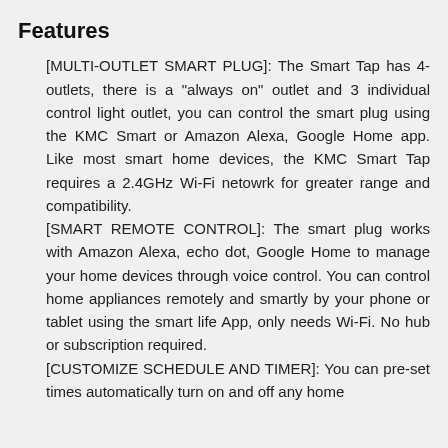Features
[MULTI-OUTLET SMART PLUG]: The Smart Tap has 4-outlets, there is a "always on" outlet and 3 individual control light outlet, you can control the smart plug using the KMC Smart or Amazon Alexa, Google Home app. Like most smart home devices, the KMC Smart Tap requires a 2.4GHz Wi-Fi netowrk for greater range and compatibility.
[SMART REMOTE CONTROL]: The smart plug works with Amazon Alexa, echo dot, Google Home to manage your home devices through voice control. You can control home appliances remotely and smartly by your phone or tablet using the smart life App, only needs Wi-Fi. No hub or subscription required.
[CUSTOMIZE SCHEDULE AND TIMER]: You can pre-set times automatically turn on and off any home